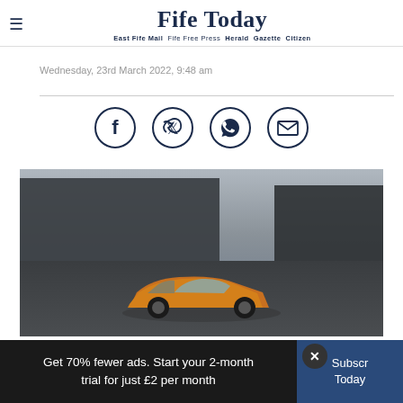Fife Today — East Fife Mail Fife Free Press Herald Gazette Citizen
Wednesday, 23rd March 2022, 9:48 am
[Figure (infographic): Four social sharing icons in circles: Facebook, Twitter, WhatsApp, Email]
[Figure (photo): A golden/orange car in front of a modern dark industrial building with overcast sky]
Get 70% fewer ads. Start your 2-month trial for just £2 per month
Subscribe Today